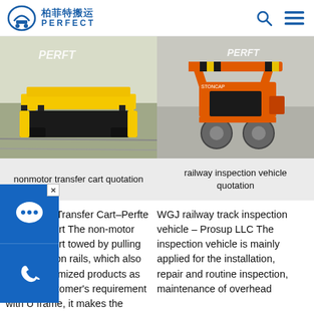柏菲特搬运 PERFECT
[Figure (photo): Yellow flatbed non-motor transfer cart on rails in industrial facility with PERFT branding]
nonmotor transfer cart quotation
[Figure (photo): Orange railway inspection vehicle with PERFT branding on workshop floor]
railway inspection vehicle quotation
Non-motor Transfer Cart–Perfte Transfer Cart The non-motor Transfer Cart towed by pulling device run on rails, which also is our customized products as per our customer's requirement with U frame, it makes the transport
WGJ railway track inspection vehicle – Prosup LLC The inspection vehicle is mainly applied for the installation, repair and routine inspection, maintenance of overhead